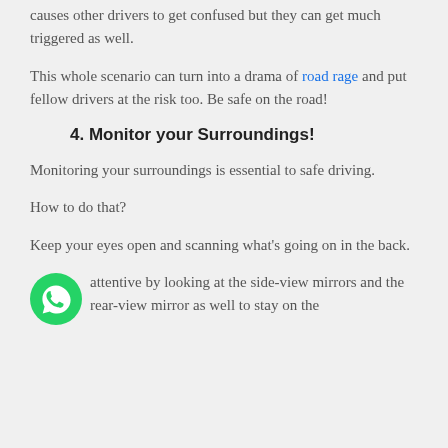causes other drivers to get confused but they can get much triggered as well.
This whole scenario can turn into a drama of road rage and put fellow drivers at the risk too. Be safe on the road!
4. Monitor your Surroundings!
Monitoring your surroundings is essential to safe driving.
How to do that?
Keep your eyes open and scanning what's going on in the back.
attentive by looking at the side-view mirrors and the rear-view mirror as well to stay on the